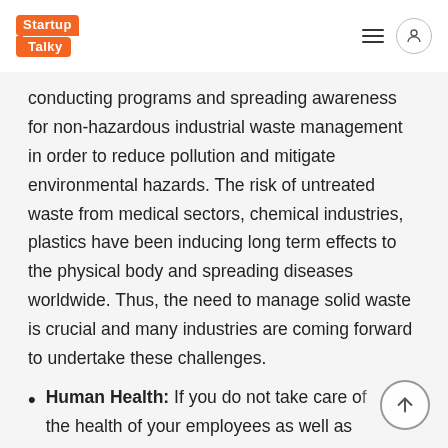StartupTalky
conducting programs and spreading awareness for non-hazardous industrial waste management in order to reduce pollution and mitigate environmental hazards. The risk of untreated waste from medical sectors, chemical industries, plastics have been inducing long term effects to the physical body and spreading diseases worldwide. Thus, the need to manage solid waste is crucial and many industries are coming forward to undertake these challenges.
Human Health: If you do not take care of the health of your employees as well as